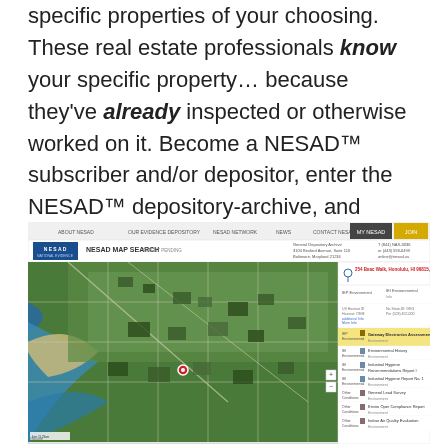specific properties of your choosing. These real estate professionals know your specific property… because they've already inspected or otherwise worked on it. Become a NESAD™ subscriber and/or depositor, enter the NESAD™ depository-archive, and instantly access over 317,000,000 discrete address locations in the continental U.S., Puerto Rico, and U.S. territories.
[Figure (screenshot): Screenshot of NESAD Map Search website showing aerial/satellite map view of a coastal neighborhood (appears to be Honolulu, Hawaii) with a red location pin marker, alongside a sidebar showing property details and documents list including environmental assessments, industrial hygiene reports, and air quality evaluations.]